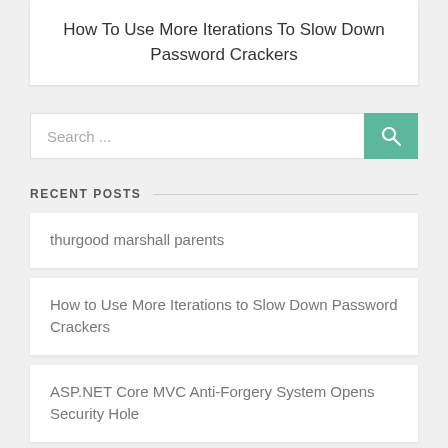How To Use More Iterations To Slow Down Password Crackers
Search ...
RECENT POSTS
thurgood marshall parents
How to Use More Iterations to Slow Down Password Crackers
ASP.NET Core MVC Anti-Forgery System Opens Security Hole